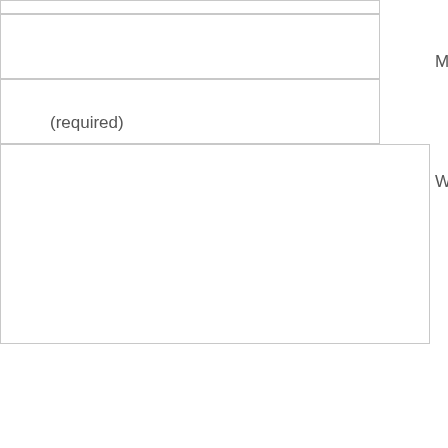Mail (will not be published) (required)
Website